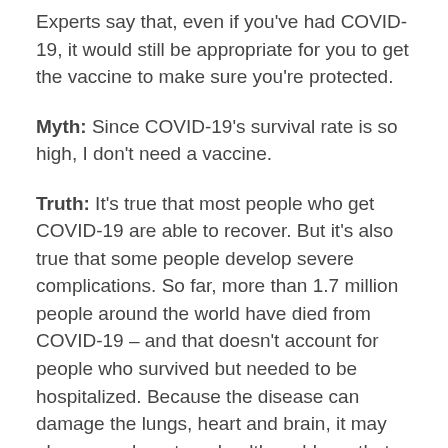Experts say that, even if you've had COVID-19, it would still be appropriate for you to get the vaccine to make sure you're protected.
Myth: Since COVID-19's survival rate is so high, I don't need a vaccine.
Truth: It's true that most people who get COVID-19 are able to recover. But it's also true that some people develop severe complications. So far, more than 1.7 million people around the world have died from COVID-19 – and that doesn't account for people who survived but needed to be hospitalized. Because the disease can damage the lungs, heart and brain, it may also cause long-term health problems that experts are still working to understand. There's another reason to consider getting the vaccine: It protects those around you. Even if COVID-19 doesn't